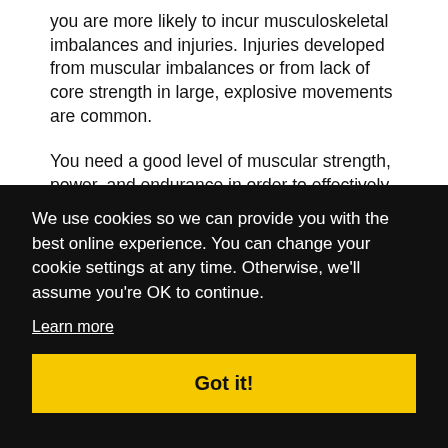you are more likely to incur musculoskeletal imbalances and injuries. Injuries developed from muscular imbalances or from lack of core strength in large, explosive movements are common.
You need a good level of muscular strength, power, and endurance in order to effectively
We use cookies so we can provide you with the best online experience. You can change your cookie settings at any time. Otherwise, we'll assume you're OK to continue.
Learn more
Got it!
using exercise ... surgical